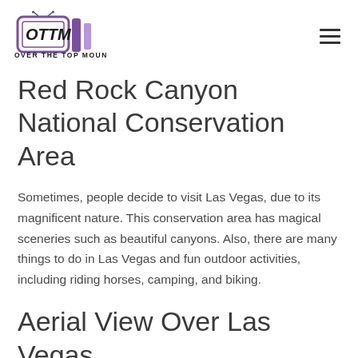OTTM OVER THE TOP MOUNTS
Red Rock Canyon National Conservation Area
Sometimes, people decide to visit Las Vegas, due to its magnificent nature. This conservation area has magical sceneries such as beautiful canyons. Also, there are many things to do in Las Vegas and fun outdoor activities, including riding horses, camping, and biking.
Aerial View Over Las Vegas